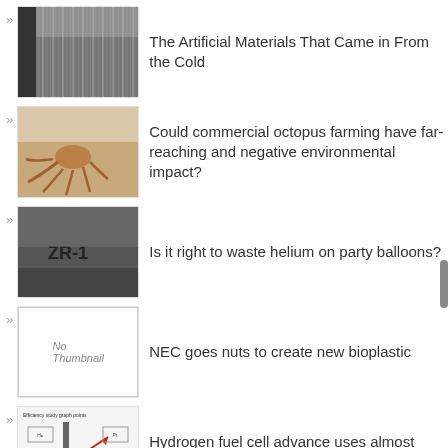The Artificial Materials That Came in From the Cold
Could commercial octopus farming have far-reaching and negative environmental impact?
Is it right to waste helium on party balloons?
NEC goes nuts to create new bioplastic
Hydrogen fuel cell advance uses almost 40% less platinum per vehicle
Super-fast electric car charging coming our way soon: Demonstrates 90 percent charge in 10 minutes